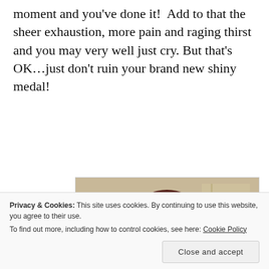moment and you've done it!  Add to that the sheer exhaustion, more pain and raging thirst and you may very well just cry. But that's OK…just don't ruin your brand new shiny medal!
[Figure (photo): A woman with curly dark hair wearing a purple top, appearing to cry or make an emotional expression, indoors with a blurred background]
Privacy & Cookies: This site uses cookies. By continuing to use this website, you agree to their use.
To find out more, including how to control cookies, see here: Cookie Policy
Close and accept